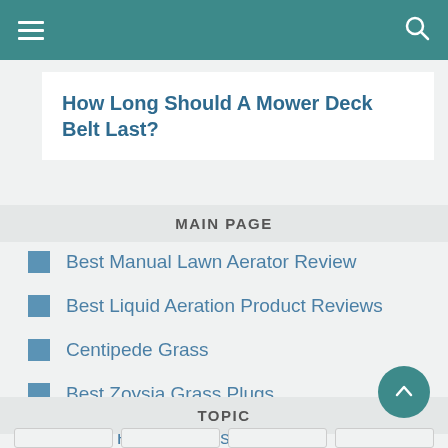Navigation bar with hamburger menu and search icon
How Long Should A Mower Deck Belt Last?
MAIN PAGE
Best Manual Lawn Aerator Review
Best Liquid Aeration Product Reviews
Centipede Grass
Best Zoysia Grass Plugs
Lawn Fertilizer Tips
TOPIC